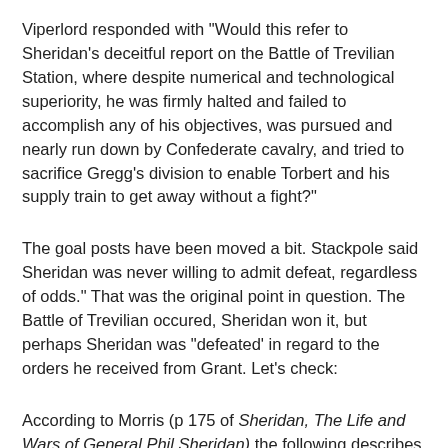Viperlord responded with "Would this refer to Sheridan's deceitful report on the Battle of Trevilian Station, where despite numerical and technological superiority, he was firmly halted and failed to accomplish any of his objectives, was pursued and nearly run down by Confederate cavalry, and tried to sacrifice Gregg's division to enable Torbert and his supply train to get away without a fight?"
The goal posts have been moved a bit. Stackpole said Sheridan was never willing to admit defeat, regardless of odds." That was the original point in question. The Battle of Trevilian occured, Sheridan won it, but perhaps Sheridan was "defeated' in regard to the orders he received from Grant. Let's check:
According to Morris (p 175 of Sheridan, The Life and Wars of General Phil Sheridan) the following describes Grant's orders to Sheridan: